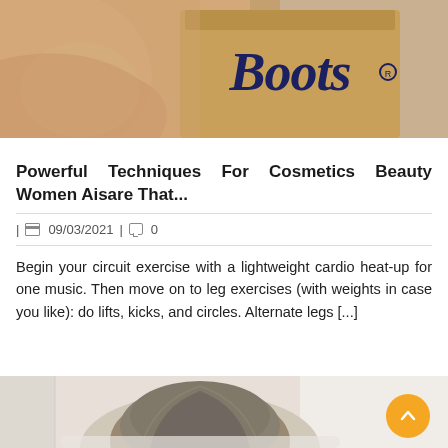[Figure (photo): Photo of person sitting holding a Boots branded shopping bag]
Powerful Techniques For Cosmetics Beauty Women Aisare That...
| 09/03/2021 | 0
Begin your circuit exercise with a lightweight cardio heat-up for one music. Then move on to leg exercises (with weights in case you like): do lifts, kicks, and circles. Alternate legs [...]
[Figure (photo): Photo of person from behind showing back of head with grey hair]